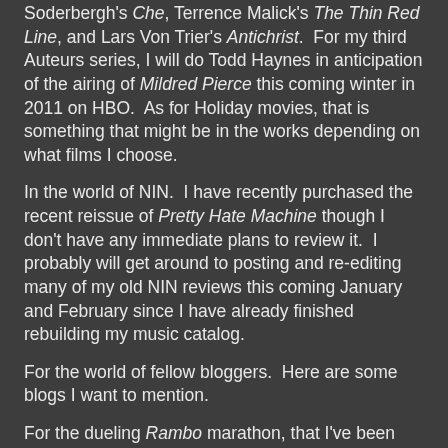Soderbergh's Che, Terrence Malick's The Thin Red Line, and Lars Von Trier's Antichrist. For my third Auteurs series, I will do Todd Haynes in anticipation of the airing of Mildred Pierce this coming winter in 2011 on HBO. As for Holiday movies, that is something that might be in the works depending on what films I choose.
In the world of NIN. I have recently purchased the recent reissue of Pretty Hate Machine though I don't have any immediate plans to review it. I probably will get around to posting and re-editing many of my old NIN reviews this coming January and February since I have already finished rebuilding my music catalog.
For the world of fellow bloggers. Here are some blogs I want to mention.
For the dueling Rambo marathon, that I've been following and been having run reading. The reviews for the most recent film have been a great read. One by Edgar of Between the Seats was definitely enjoyable as is the contribution from Bill of Bill's Movie Emporium who is also